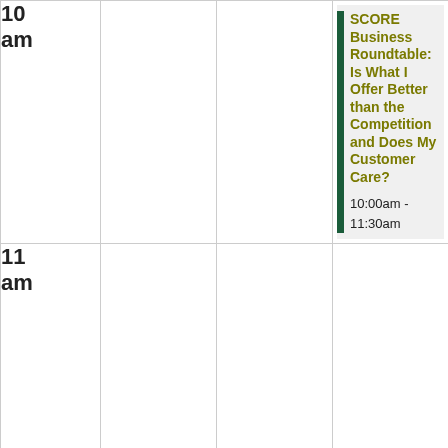| 10
am |  |  | SCORE Business Roundtable: Is What I Offer Better than the Competition and Does My Customer Care?
10:00am - 11:30am |
| 11
am |  |  |  |
| 12
pm |  |  |  |